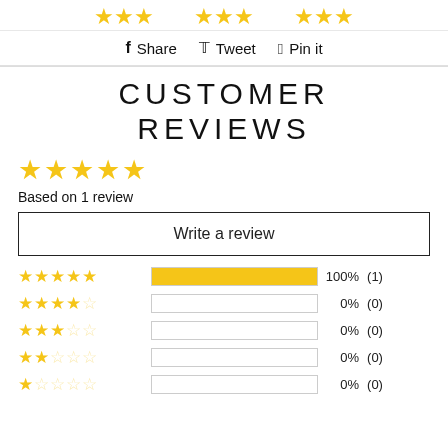[Figure (illustration): Partial golden star decorations at top of page]
Share  Tweet  Pin it
CUSTOMER REVIEWS
[Figure (illustration): 5 filled gold stars rating]
Based on 1 review
Write a review
| Stars | Bar | Percentage | Count |
| --- | --- | --- | --- |
| 5 stars | 100% | 100% | (1) |
| 4 stars | 0% | 0% | (0) |
| 3 stars | 0% | 0% | (0) |
| 2 stars | 0% | 0% | (0) |
| 1 star | 0% | 0% | (0) |